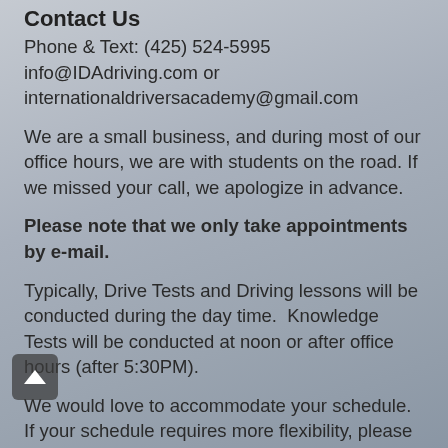Contact Us
Phone & Text: (425) 524-5995
info@IDAdriving.com or internationaldriversacademy@gmail.com
We are a small business, and during most of our office hours, we are with students on the road. If we missed your call, we apologize in advance.
Please note that we only take appointments by e-mail.
Typically, Drive Tests and Driving lessons will be conducted during the day time.  Knowledge Tests will be conducted at noon or after office hours (after 5:30PM).
We would love to accommodate your schedule.  If your schedule requires more flexibility, please make an